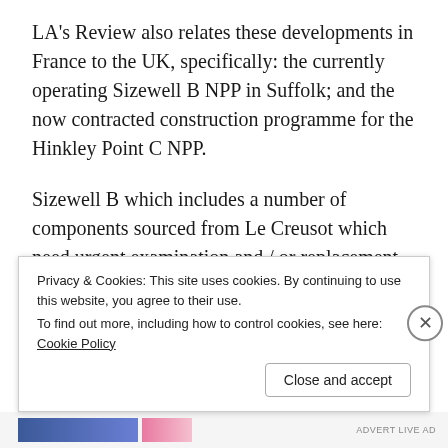LA's Review also relates these developments in France to the UK, specifically: the currently operating Sizewell B NPP in Suffolk; and the now contracted construction programme for the Hinkley Point C NPP.
Sizewell B which includes a number of components sourced from Le Creusot which need urgent examination and / or replacement in order to prevent unsafe operation. The fact that this could escape the UK's nuclear
Privacy & Cookies: This site uses cookies. By continuing to use this website, you agree to their use.
To find out more, including how to control cookies, see here: Cookie Policy